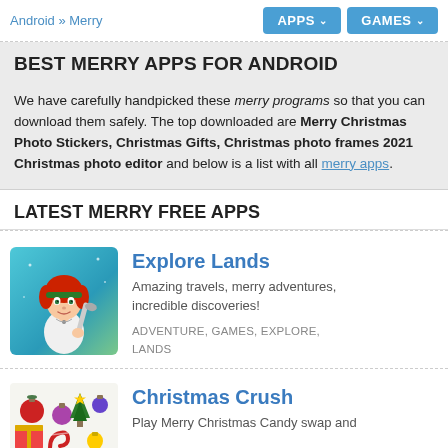Android » Merry | APPS ˅ | GAMES ˅
BEST MERRY APPS FOR ANDROID
We have carefully handpicked these merry programs so that you can download them safely. The top downloaded are Merry Christmas Photo Stickers, Christmas Gifts, Christmas photo frames 2021 Christmas photo editor and below is a list with all merry apps.
LATEST MERRY FREE APPS
[Figure (illustration): App icon for Explore Lands showing a red-haired female character with a garden trowel on a teal background]
Explore Lands
Amazing travels, merry adventures, incredible discoveries!
ADVENTURE, GAMES, EXPLORE, LANDS
[Figure (illustration): App icon for Christmas Crush showing Christmas decorations and ornaments]
Christmas Crush
Play Merry Christmas Candy swap and